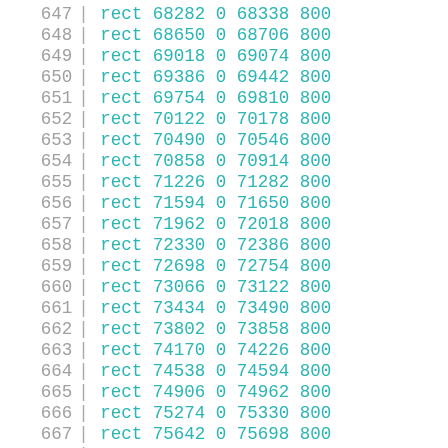| line |  | keyword | val1 | val2 | val3 | val4 |
| --- | --- | --- | --- | --- | --- | --- |
| 647 | | | rect | 68282 | 0 | 68338 | 800 |
| 648 | | | rect | 68650 | 0 | 68706 | 800 |
| 649 | | | rect | 69018 | 0 | 69074 | 800 |
| 650 | | | rect | 69386 | 0 | 69442 | 800 |
| 651 | | | rect | 69754 | 0 | 69810 | 800 |
| 652 | | | rect | 70122 | 0 | 70178 | 800 |
| 653 | | | rect | 70490 | 0 | 70546 | 800 |
| 654 | | | rect | 70858 | 0 | 70914 | 800 |
| 655 | | | rect | 71226 | 0 | 71282 | 800 |
| 656 | | | rect | 71594 | 0 | 71650 | 800 |
| 657 | | | rect | 71962 | 0 | 72018 | 800 |
| 658 | | | rect | 72330 | 0 | 72386 | 800 |
| 659 | | | rect | 72698 | 0 | 72754 | 800 |
| 660 | | | rect | 73066 | 0 | 73122 | 800 |
| 661 | | | rect | 73434 | 0 | 73490 | 800 |
| 662 | | | rect | 73802 | 0 | 73858 | 800 |
| 663 | | | rect | 74170 | 0 | 74226 | 800 |
| 664 | | | rect | 74538 | 0 | 74594 | 800 |
| 665 | | | rect | 74906 | 0 | 74962 | 800 |
| 666 | | | rect | 75274 | 0 | 75330 | 800 |
| 667 | | | rect | 75642 | 0 | 75698 | 800 |
| 668 | | | rect | 76010 | 0 | 76066 | 800 |